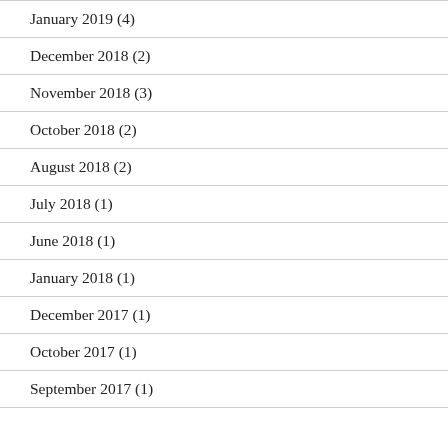January 2019 (4)
December 2018 (2)
November 2018 (3)
October 2018 (2)
August 2018 (2)
July 2018 (1)
June 2018 (1)
January 2018 (1)
December 2017 (1)
October 2017 (1)
September 2017 (1)